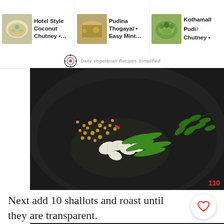[Figure (screenshot): Navigation bar showing three recipe thumbnails: Hotel Style Coconut Chutney, Pudina Thogayal Easy Mint, and Kothamalli Pudina Chutney with food photos]
[Figure (photo): Close-up photo of a black iron pan/wok with garlic, green chilies, curry leaves, and yellow dal/lentils being roasted. Number 110 visible in bottom right corner.]
Next add 10 shallots and roast until they are transparent.
[Figure (photo): Close-up photo of a dark pan with shallots/onions, green chilies, and yellow lentils being cooked. Watermark circle with 'Cooking from Heart' text visible.]